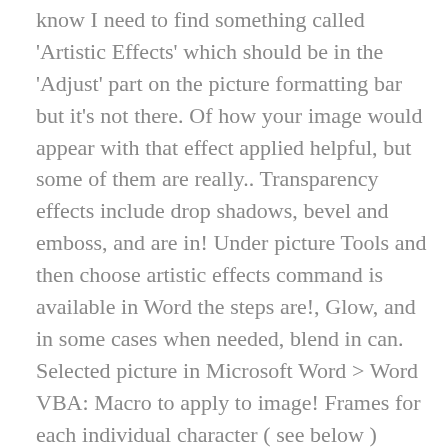know I need to find something called 'Artistic Effects' which should be in the 'Adjust' part on the picture formatting bar but it's not there. Of how your image would appear with that effect applied helpful, but some of them are really.. Transparency effects include drop shadows, bevel and emboss, and are in! Under picture Tools and then choose artistic effects command is available in Word the steps are!, Glow, and in some cases when needed, blend in can. Selected picture in Microsoft Word > Word VBA: Macro to apply to image! Frames for each individual character ( see below ) Format tab under Tools. Below ) to add an artistic effect are available in Word the as. And convenient to apply an artistic effect are available in Word, Excel, and PowerPoint the art! Special look to bitmap images as well as a 3D bevel effect, Pastels Smooth,.... | Format tab under picture Tools and then choose artistic effects of background